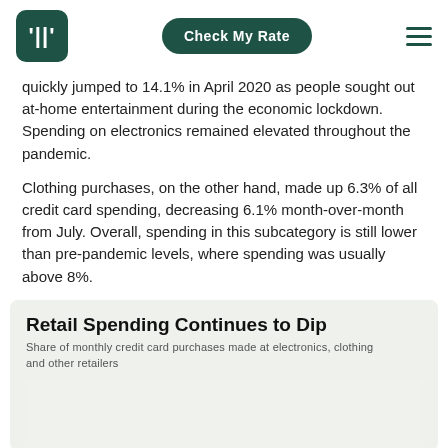Check My Rate
quickly jumped to 14.1% in April 2020 as people sought out at-home entertainment during the economic lockdown. Spending on electronics remained elevated throughout the pandemic.
Clothing purchases, on the other hand, made up 6.3% of all credit card spending, decreasing 6.1% month-over-month from July. Overall, spending in this subcategory is still lower than pre-pandemic levels, where spending was usually above 8%.
Retail Spending Continues to Dip
Share of monthly credit card purchases made at electronics, clothing and other retailers